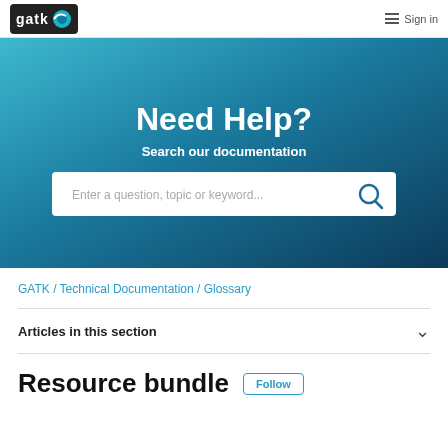GATK logo / Sign in
Need Help?
Search our documentation
Enter a question, topic or keyword...
GATK / Technical Documentation / Glossary
Articles in this section
Resource bundle